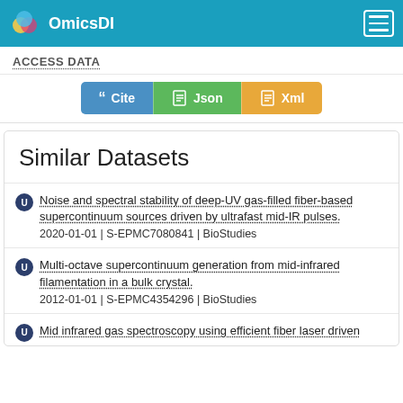OmicsDI
ACCESS DATA
[Figure (screenshot): Three buttons: Cite (blue), Json (green), Xml (orange)]
Similar Datasets
Noise and spectral stability of deep-UV gas-filled fiber-based supercontinuum sources driven by ultrafast mid-IR pulses. 2020-01-01 | S-EPMC7080841 | BioStudies
Multi-octave supercontinuum generation from mid-infrared filamentation in a bulk crystal. 2012-01-01 | S-EPMC4354296 | BioStudies
Mid infrared gas spectroscopy using efficient fiber laser driven